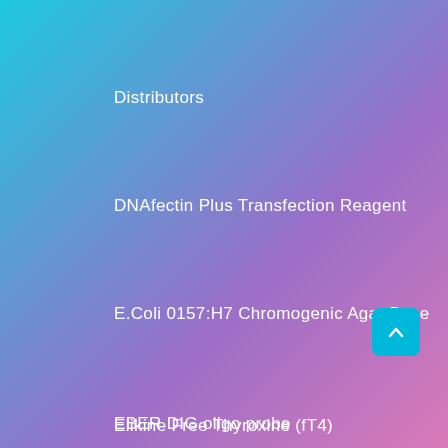Distributors
DNAfectin Plus Transfection Reagent
E.Coli 0157:H7 Chromogenic Agar Base
EBER DIG oligo probe
Elikine Free Thyroxine (fT4)
Elisa Kit for Carboxymethyl Lysine
EndoTrap HD 1/1 Kit